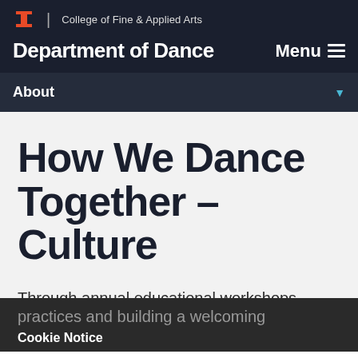College of Fine & Applied Arts | Department of Dance | Menu
About
How We Dance Together – Culture
Through annual educational workshops, townhalls devoted to discussions of social justice, reading groups, and communications, our community is committed to actively undoing racist practices and building a welcoming
Cookie Notice